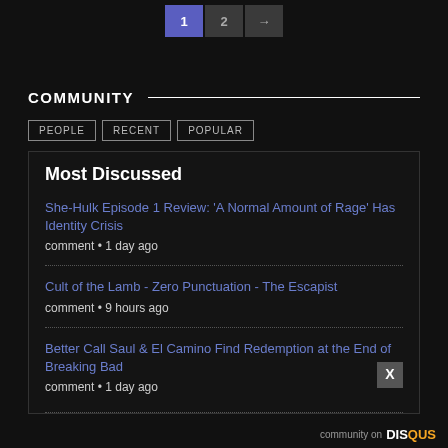1 2 →
COMMUNITY
PEOPLE
RECENT
POPULAR
Most Discussed
She-Hulk Episode 1 Review: 'A Normal Amount of Rage' Has Identity Crisis
comment • 1 day ago
Cult of the Lamb - Zero Punctuation - The Escapist
comment • 9 hours ago
Better Call Saul & El Camino Find Redemption at the End of Breaking Bad
comment • 1 day ago
community on DISQUS